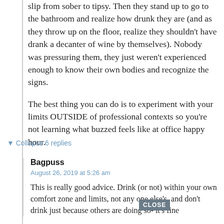slip from sober to tipsy. Then they stand up to go to the bathroom and realize how drunk they are (and as they throw up on the floor, realize they shouldn't have drank a decanter of wine by themselves). Nobody was pressuring them, they just weren't experienced enough to know their own bodies and recognize the signs.
The best thing you can do is to experiment with your limits OUTSIDE of professional contexts so you're not learning what buzzed feels like at office happy hour.
▼ Collapse 6 replies
Bagpuss
August 26, 2019 at 5:26 am
This is really good advice. Drink (or not) within your own comfort zone and limits, not any one else's, and don't drink just because others are doing so- it's fine